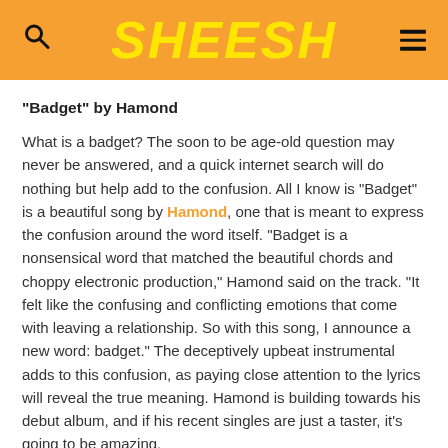SHEESH
“Badget” by Hamond
What is a badget? The soon to be age-old question may never be answered, and a quick internet search will do nothing but help add to the confusion. All I know is “Badget” is a beautiful song by Hamond, one that is meant to express the confusion around the word itself. “Badget is a nonsensical word that matched the beautiful chords and choppy electronic production,” Hamond said on the track. “It felt like the confusing and conflicting emotions that come with leaving a relationship. So with this song, I announce a new word: badget.” The deceptively upbeat instrumental adds to this confusion, as paying close attention to the lyrics will reveal the true meaning. Hamond is building towards his debut album, and if his recent singles are just a taster, it’s going to be amazing.